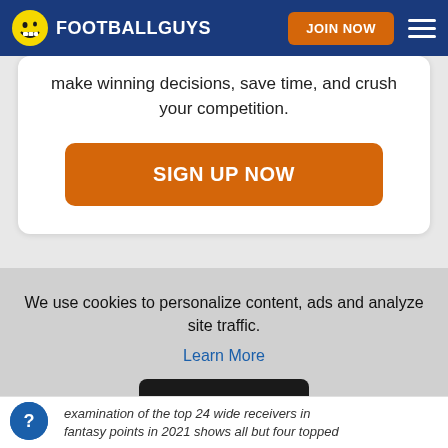FOOTBALLGUYS — JOIN NOW
make winning decisions, save time, and crush your competition.
SIGN UP NOW
We use cookies to personalize content, ads and analyze site traffic.
Learn More
OKAY
examination of the top 24 wide receivers in fantasy points in 2021 shows all but four topped